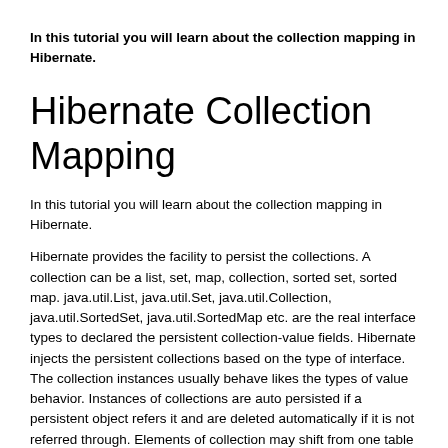In this tutorial you will learn about the collection mapping in Hibernate.
Hibernate Collection Mapping
In this tutorial you will learn about the collection mapping in Hibernate.
Hibernate provides the facility to persist the collections. A collection can be a list, set, map, collection, sorted set, sorted map. java.util.List, java.util.Set, java.util.Collection, java.util.SortedSet, java.util.SortedMap etc. are the real interface types to declared the persistent collection-value fields. Hibernate injects the persistent collections based on the type of interface. The collection instances usually behave likes the types of value behavior. Instances of collections are auto persisted if a persistent object refers it and are deleted automatically if it is not referred through. Elements of collection may shift from one table to another when a persistent object passed the collection to another persistent